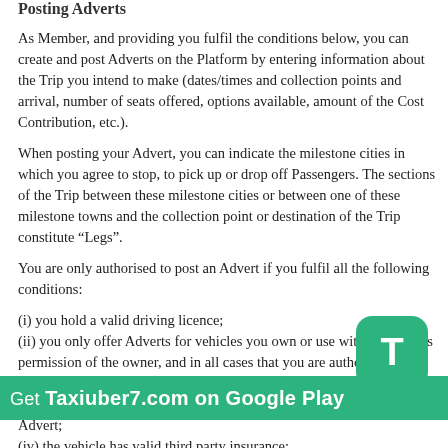Posting Adverts
As Member, and providing you fulfil the conditions below, you can create and post Adverts on the Platform by entering information about the Trip you intend to make (dates/times and collection points and arrival, number of seats offered, options available, amount of the Cost Contribution, etc.).
When posting your Advert, you can indicate the milestone cities in which you agree to stop, to pick up or drop off Passengers. The sections of the Trip between these milestone cities or between one of these milestone towns and the collection point or destination of the Trip constitute “Legs”.
You are only authorised to post an Advert if you fulfil all the following conditions:
(i) you hold a valid driving licence;
(ii) you only offer Adverts for vehicles you own or use with the express permission of the owner, and in all cases that you are authorised to use for the purposes of carpooling;
(iii) you are and remain the main driver of the vehicle subject of the Advert;
(iv) the vehicle has valid third party insurance;
(v) you have no incapacity for driving;
(vi) the vehicle you intend to use for the Trip is a touring car with 4